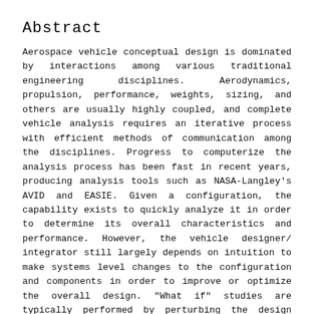Abstract
Aerospace vehicle conceptual design is dominated by interactions among various traditional engineering disciplines. Aerodynamics, propulsion, performance, weights, sizing, and others are usually highly coupled, and complete vehicle analysis requires an iterative process with efficient methods of communication among the disciplines. Progress to computerize the analysis process has been fast in recent years, producing analysis tools such as NASA-Langley's AVID and EASIE. Given a configuration, the capability exists to quickly analyze it in order to determine its overall characteristics and performance. However, the vehicle designer/ integrator still largely depends on intuition to make systems level changes to the configuration and components in order to improve or optimize the overall design. "What if" studies are typically performed by perturbing the design variables one at a time in an attempt to locate a better design. A complete reanalysis of the entire system is then required for each variable change. This method is a time consuming process that may or may not lead to a more desirable vehicle design. Several mathematically based design techniques have recently emerged that could help the system